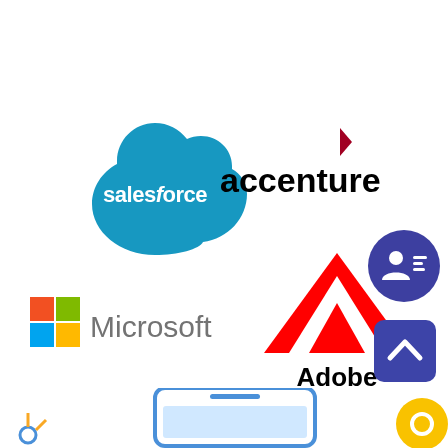[Figure (logo): Salesforce cloud logo in blue with white 'salesforce' text]
[Figure (logo): Accenture logo: black lowercase 'accenture' text with red angle-bracket arrow above the t]
[Figure (logo): Contact card icon in dark blue circle]
[Figure (logo): Microsoft logo with four-color Windows squares and grey 'Microsoft' text]
[Figure (logo): Adobe logo: red A mark with white triangles and bold black 'Adobe' text]
[Figure (logo): Dark blue rounded square button with white up-arrow chevron]
[Figure (illustration): Partial device/tablet illustration at the bottom center with decorative icons]
[Figure (logo): Yellow circular icon (partially visible) at bottom right]